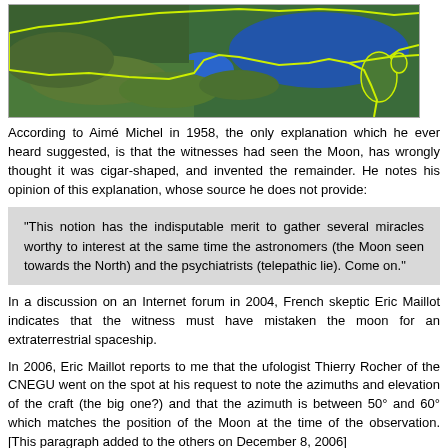[Figure (map): Satellite map view showing a region with yellow-outlined borders, green terrain and blue sea/water areas (Black Sea region visible)]
According to Aimé Michel in 1958, the only explanation which he ever heard suggested, is that the witnesses had seen the Moon, has wrongly thought it was cigar-shaped, and invented the remainder. He notes his opinion of this explanation, whose source he does not provide:
"This notion has the indisputable merit to gather several miracles worthy to interest at the same time the astronomers (the Moon seen towards the North) and the psychiatrists (telepathic lie). Come on."
In a discussion on an Internet forum in 2004, French skeptic Eric Maillot indicates that the witness must have mistaken the moon for an extraterrestrial spaceship.
In 2006, Eric Maillot reports to me that the ufologist Thierry Rocher of the CNEGU went on the spot at his request to note the azimuths and elevation of the craft (the big one?) and that the azimuth is between 50° and 60° which matches the position of the Moon at the time of the observation. [This paragraph added to the others on December 8, 2006]
In another Internet discussion forum, circa 2003-2004, French skeptic Dominique Caudron indicated that the witness Bernard Miserey already reported saucers